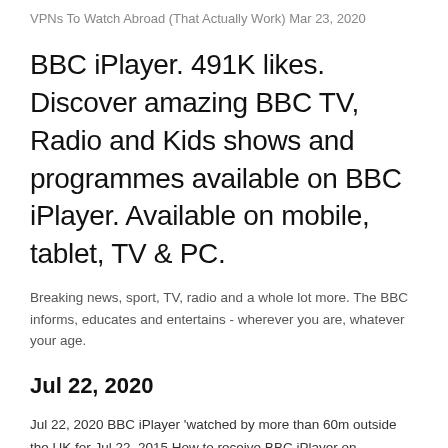VPNs To Watch Abroad (That Actually Work) Mar 23, 2020
BBC iPlayer. 491K likes. Discover amazing BBC TV, Radio and Kids shows and programmes available on BBC iPlayer. Available on mobile, tablet, TV & PC.
Breaking news, sport, TV, radio and a whole lot more. The BBC informs, educates and entertains - wherever you are, whatever your age.
Jul 22, 2020
Jul 22, 2020 BBC iPlayer 'watched by more than 60m outside the UK for Jul 22, 2015 How to receive BBC iPlayer on iPhone/iPad/iPod (ABROAD FOR Jul 23, 2013